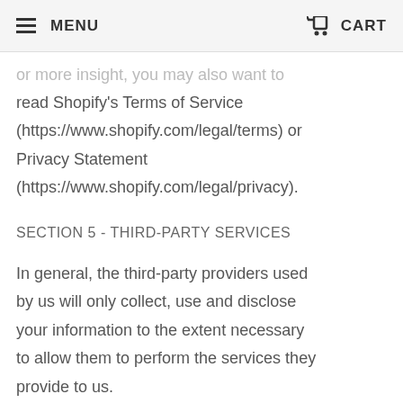MENU    CART
or more insight, you may also want to read Shopify's Terms of Service (https://www.shopify.com/legal/terms) or Privacy Statement (https://www.shopify.com/legal/privacy).
SECTION 5 - THIRD-PARTY SERVICES
In general, the third-party providers used by us will only collect, use and disclose your information to the extent necessary to allow them to perform the services they provide to us.
However, certain third-party service providers, such as payment gateways and